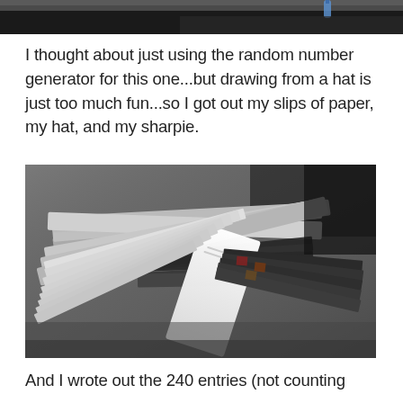[Figure (photo): Partial view of a photo at the top of the page, showing a dark background with what appears to be a blue pen or marker visible at the top right edge.]
I thought about just using the random number generator for this one...but drawing from a hat is just too much fun...so I got out my slips of paper, my hat, and my sharpie.
[Figure (photo): A photograph showing a large pile of paper slips and printed entries stacked on a gray fabric surface (couch or chair). The slips appear to be contest entries with some printed images visible. A white blank slip of paper is prominently placed on top of the pile.]
And I wrote out the 240 entries (not counting